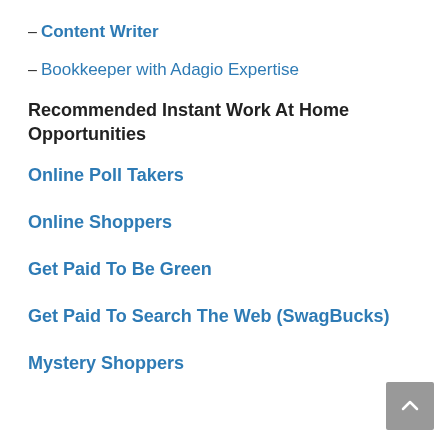– Content Writer
– Bookkeeper with Adagio Expertise
Recommended Instant Work At Home Opportunities
Online Poll Takers
Online Shoppers
Get Paid To Be Green
Get Paid To Search The Web (SwagBucks)
Mystery Shoppers